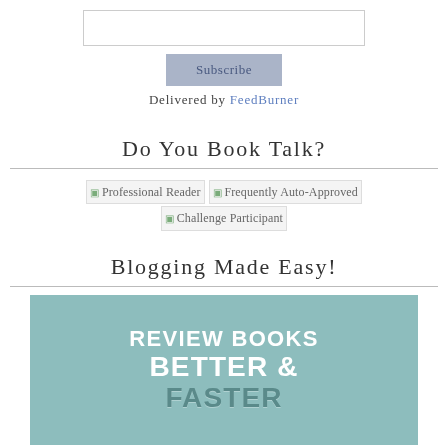[Figure (other): Email subscription input box, empty text field]
[Figure (other): Subscribe button in muted blue-gray]
Delivered by FeedBurner
Do You Book Talk?
[Figure (other): Three badge images: Professional Reader, Frequently Auto-Approved, Challenge Participant]
Blogging Made Easy!
[Figure (illustration): Blue-green promotional banner with text: REVIEW BOOKS BETTER &]